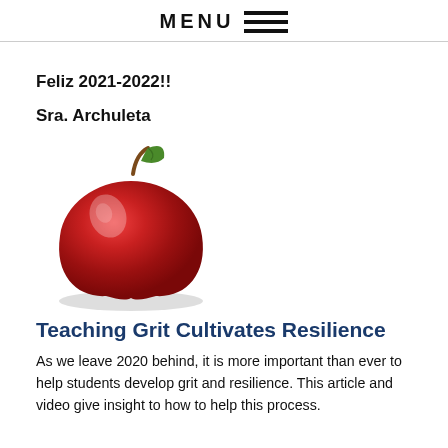MENU
Feliz 2021-2022!!
Sra. Archuleta
[Figure (illustration): Red apple with green leaf and brown stem, glossy illustration style with shadow beneath]
Teaching Grit Cultivates Resilience
As we leave 2020 behind, it is more important than ever to help students develop grit and resilience. This article and video give insight to how to help this process.